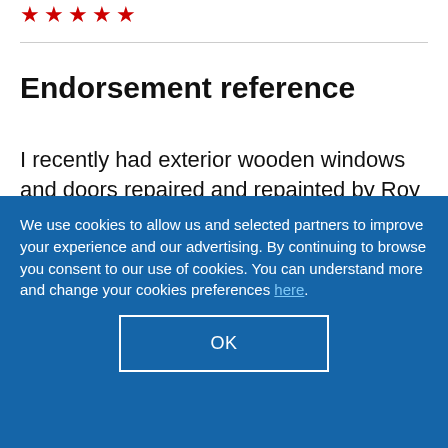[Figure (other): Five red star rating icons in a row]
Endorsement reference
I recently had exterior wooden windows and doors repaired and repainted by Roy Basten. Roy always does an excellent job, is trustworthy and timely, and is very helpful in finding
We use cookies to allow us and selected partners to improve your experience and our advertising. By continuing to browse you consent to our use of cookies. You can understand more and change your cookies preferences here.
OK